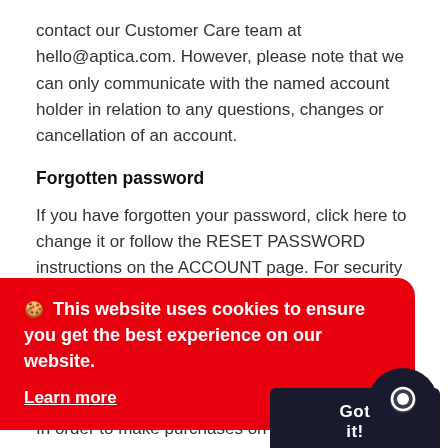contact our Customer Care team at hello@aptica.com. However, please note that we can only communicate with the named account holder in relation to any questions, changes or cancellation of an account.
Forgotten password
If you have forgotten your password, click here to change it or follow the RESET PASSWORD instructions on the ACCOUNT page. For security reasons we are unable to send your password via email.
Please refer to our Privacy Policy for information about how we use your data.
Eligibility to purchase
In order to make purchases on the Site you will be required to provide your personal details. In particular,
🍪 This website uses cookies to ensure you get the best experience on our website.
Learn more
Got it!